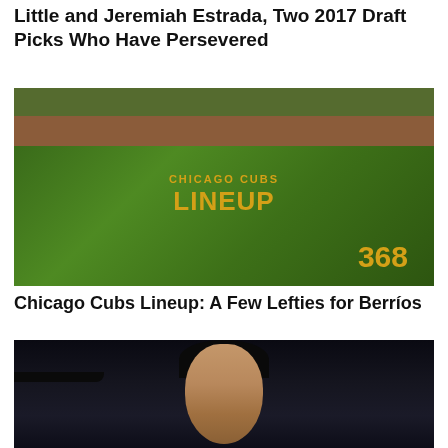Little and Jeremiah Estrada, Two 2017 Draft Picks Who Have Persevered
[Figure (photo): Chicago Cubs outfield ivy wall with 'CHICAGO CUBS LINEUP' text in yellow and distance marker '368' painted on the wall]
Chicago Cubs Lineup: A Few Lefties for Berríos
[Figure (photo): Close-up portrait of a baseball player wearing a Houston Astros cap, dark background, serious expression]